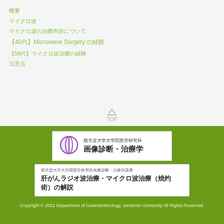概要
マイクロ波
マイクロ波の治療内容について
【40代】Microwave Surgeryの経験
【58代】マイクロ波治療の経験
注意点
[Figure (logo): Juntendo University Graduate School of Medicine, Department of Diagnostic and Therapeutic Radiology logo with purple half-circle icon and Japanese text 順天堂大学大学院医学研究科 画像診断・治療学]
順天堂大学大学院医学研究科画像診断・治療学講座
肝がんラジオ波治療・マイクロ波治療（焼灼術）の解説
Copyright © 2022 Department of Gastroenterology, Juntendo University All Rights Reserved.